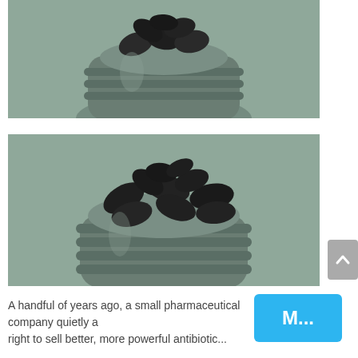[Figure (photo): Close-up of an open dark gray pill bottle filled with black capsules, top-down perspective, muted sage green background.]
[Figure (photo): Close-up of an open dark gray pill bottle overflowing with black capsules, slightly angled view, muted sage green background.]
A handful of years ago, a small pharmaceutical company quietly a… right to sell better, more powerful antibiotic...